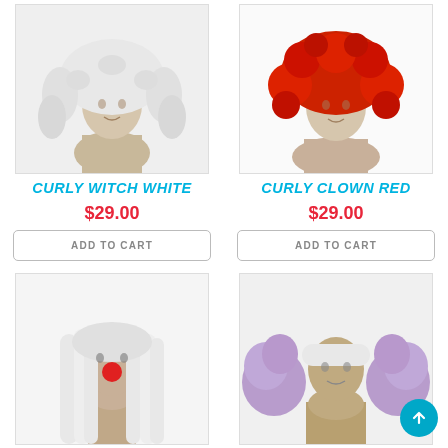[Figure (photo): Mannequin wearing curly white witch wig]
CURLY WITCH WHITE
$29.00
ADD TO CART
[Figure (photo): Mannequin wearing curly red clown wig]
CURLY CLOWN RED
$29.00
ADD TO CART
[Figure (photo): Mannequin wearing long white wig with red clown nose]
[Figure (photo): Mannequin wearing lavender/purple side-puff clown wig with white crown and scroll-to-top button overlay]